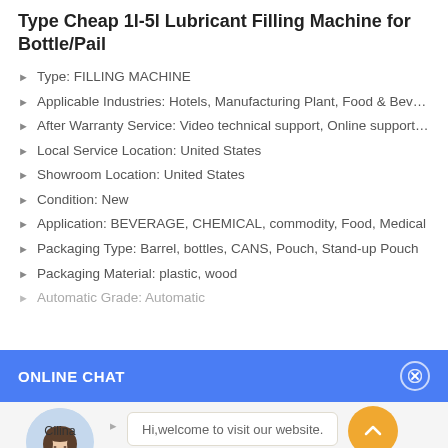Type Cheap 1l-5l Lubricant Filling Machine for Bottle/Pail
Type: FILLING MACHINE
Applicable Industries: Hotels, Manufacturing Plant, Food & Bever...
After Warranty Service: Video technical support, Online support, ...
Local Service Location: United States
Showroom Location: United States
Condition: New
Application: BEVERAGE, CHEMICAL, commodity, Food, Medical
Packaging Type: Barrel, bottles, CANS, Pouch, Stand-up Pouch
Packaging Material: plastic, wood
Automatic Grade: Automatic
ONLINE CHAT
[Figure (illustration): Customer service avatar photo of a woman named Cilina with chat bubble saying Hi, welcome to visit our website.]
Hi,welcome to visit our website.
Cilina